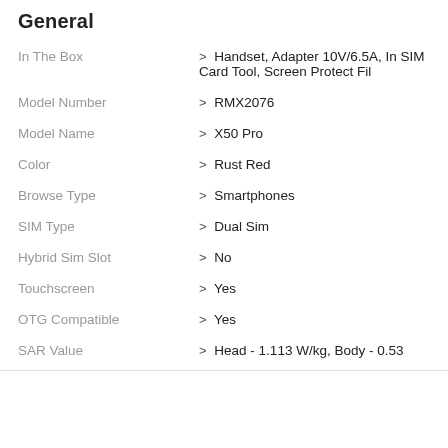General
| Attribute | Value |
| --- | --- |
| In The Box | > Handset, Adapter 10V/6.5A, In SIM Card Tool, Screen Protect Fil |
| Model Number | > RMX2076 |
| Model Name | > X50 Pro |
| Color | > Rust Red |
| Browse Type | > Smartphones |
| SIM Type | > Dual Sim |
| Hybrid Sim Slot | > No |
| Touchscreen | > Yes |
| OTG Compatible | > Yes |
| SAR Value | > Head - 1.113 W/kg, Body - 0.53 |